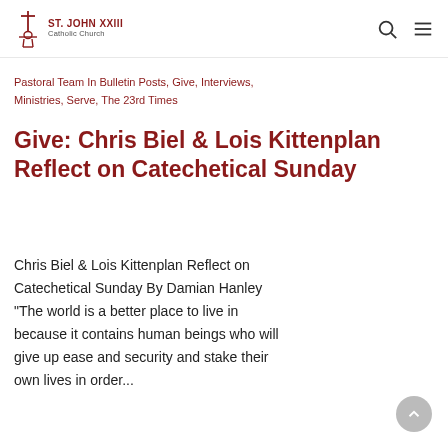St. John XXIII Catholic Church
Pastoral Team In Bulletin Posts, Give, Interviews, Ministries, Serve, The 23rd Times
Give: Chris Biel & Lois Kittenplan Reflect on Catechetical Sunday
Chris Biel & Lois Kittenplan Reflect on Catechetical Sunday By Damian Hanley "The world is a better place to live in because it contains human beings who will give up ease and security and stake their own lives in order...